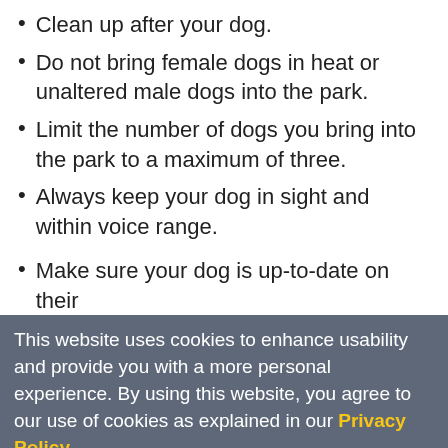Clean up after your dog.
Do not bring female dogs in heat or unaltered male dogs into the park.
Limit the number of dogs you bring into the park to a maximum of three.
Always keep your dog in sight and within voice range.
Make sure your dog is up-to-date on their
If your dog is bullying, or being bullied, leave the park immediately.
No digging. Fill in any holes your dog has created.
Respect the rules of the dog park.
We ask residents to respect the rules and to be considerate of other owners and their dogs. This
This website uses cookies to enhance usability and provide you with a more personal experience. By using this website, you agree to our use of cookies as explained in our Privacy Policy.